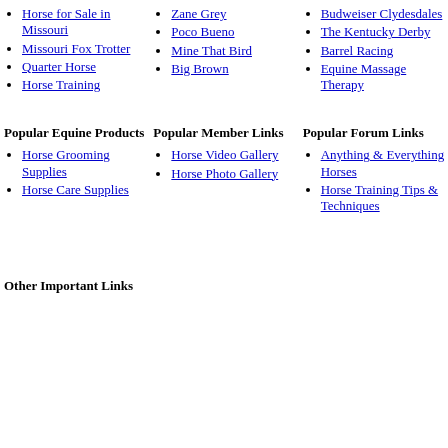Horse for Sale in Missouri
Missouri Fox Trotter
Quarter Horse
Horse Training
Zane Grey
Poco Bueno
Mine That Bird
Big Brown
Budweiser Clydesdales
The Kentucky Derby
Barrel Racing
Equine Massage Therapy
Popular Equine Products
Popular Member Links
Popular Forum Links
Horse Grooming Supplies
Horse Care Supplies
Horse Video Gallery
Horse Photo Gallery
Anything & Everything Horses
Horse Training Tips & Techniques
Other Important Links